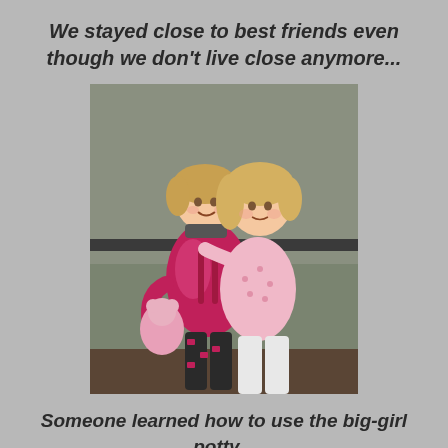We stayed close to best friends even though we don't live close anymore...
[Figure (photo): Two young toddler girls hugging each other. The girl on the left wears a bright pink/magenta puffer jacket and patterned leggings; the girl on the right wears a light pink floral top and white pants. Both have blonde hair. Background is a muted olive/green wall.]
Someone learned how to use the big-girl potty...